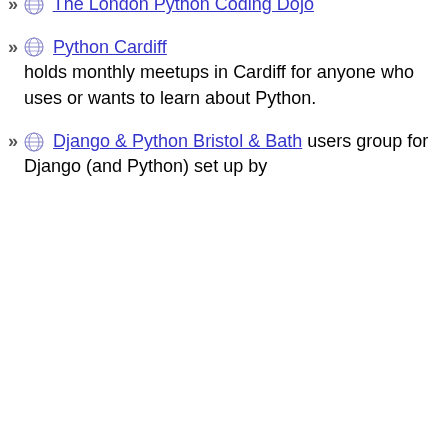PyData London Meetup - a very large group with regular meetings focused on uses of Python in data science
Southampton Python
The London Python Coding Dojo
Python Cardiff holds monthly meetups in Cardiff for anyone who uses or wants to learn about Python.
Django & Python Bristol & Bath users group for Django (and Python) set up by